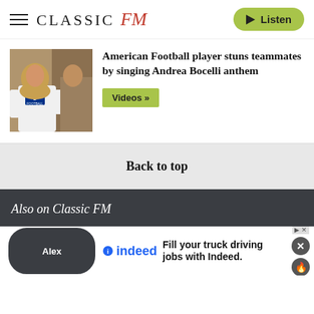CLASSIC FM — Listen
[Figure (photo): Photo of an American football player with long blonde hair wearing a Duke Football white t-shirt]
American Football player stuns teammates by singing Andrea Bocelli anthem
Videos »
Back to top
Also on Classic FM
Listen to Global Player
Fill your truck driving jobs with Indeed.